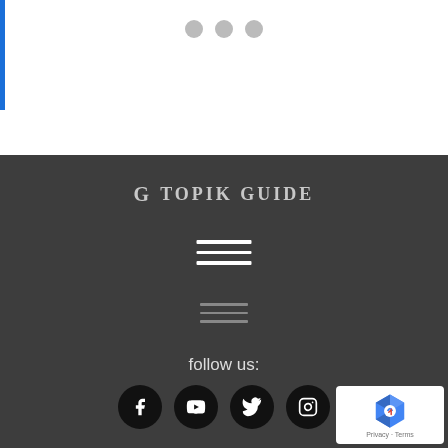[Figure (screenshot): Top white section with blue left bar and three gray navigation dots]
G TOPIK GUIDE
[Figure (infographic): Hamburger menu icon (three white horizontal lines) in dark footer]
[Figure (infographic): Smaller hamburger menu icon (three dark gray horizontal lines) in dark footer]
follow us:
[Figure (infographic): Social media icons: Facebook, YouTube, Twitter, Instagram on dark circular backgrounds]